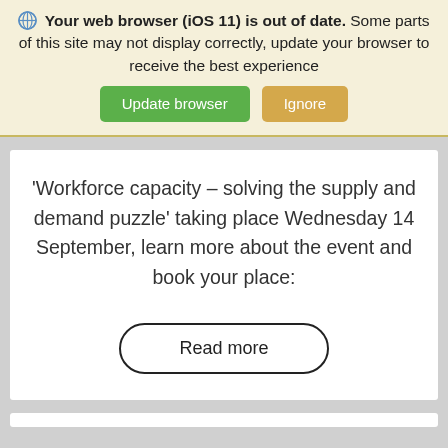🌐 Your web browser (iOS 11) is out of date. Some parts of this site may not display correctly, update your browser to receive the best experience
Update browser  Ignore
'Workforce capacity – solving the supply and demand puzzle' taking place Wednesday 14 September, learn more about the event and book your place:
Read more